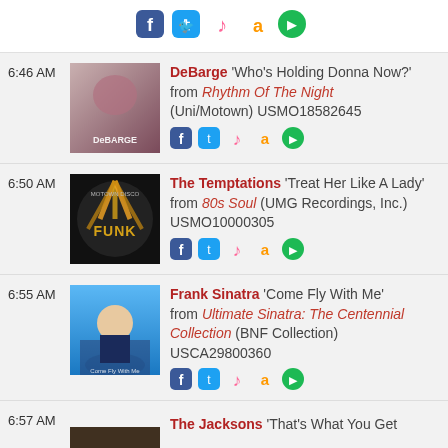[Figure (infographic): Top social/music icons row: Facebook, Twitter, iTunes, Amazon, Spotify]
6:46 AM — DeBarge 'Who's Holding Donna Now?' from Rhythm Of The Night (Uni/Motown) USMO18582645
6:50 AM — The Temptations 'Treat Her Like A Lady' from 80s Soul (UMG Recordings, Inc.) USMO10000305
6:55 AM — Frank Sinatra 'Come Fly With Me' from Ultimate Sinatra: The Centennial Collection (BNF Collection) USCA29800360
6:57 AM — The Jacksons 'That's What You Get